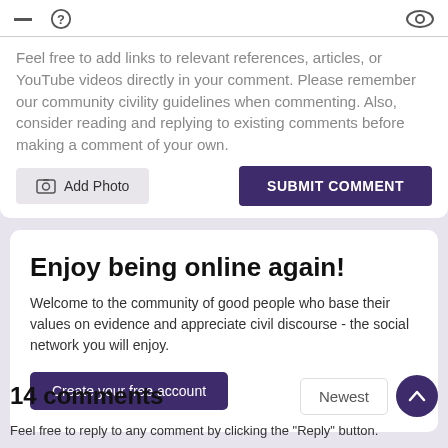Feel free to add links to relevant references, articles, or YouTube videos directly in your comment.  Please remember our community civility guidelines when commenting.  Also, consider reading and replying to existing comments before making a comment of your own.
[Figure (screenshot): Add Photo button (grey) and SUBMIT COMMENT button (dark purple)]
Enjoy being online again!
Welcome to the community of good people who base their values on evidence and appreciate civil discourse - the social network you will enjoy.
Create your free account
14 comments
Newest
Feel free to reply to any comment by clicking the "Reply" button.